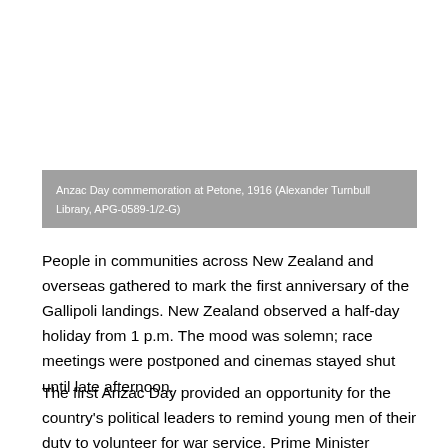[Figure (photo): Historical photograph of Anzac Day commemoration at Petone, 1916. Photo area appears as white/light space above a grey caption bar.]
Anzac Day commemoration at Petone, 1916 (Alexander Turnbull Library, APG-0589-1/2-G)
People in communities across New Zealand and overseas gathered to mark the first anniversary of the Gallipoli landings. New Zealand observed a half-day holiday from 1 p.m. The mood was solemn; race meetings were postponed and cinemas stayed shut until late afternoon.
The first Anzac Day provided an opportunity for the country's political leaders to remind young men of their duty to volunteer for war service. Prime Minister William Massey concluded a